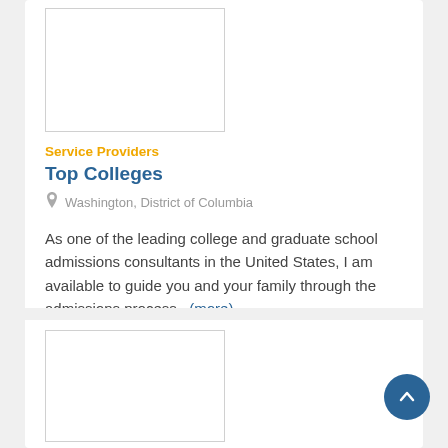[Figure (illustration): White rectangular image placeholder with light gray border]
Service Providers
Top Colleges
Washington, District of Columbia
As one of the leading college and graduate school admissions consultants in the United States, I am available to guide you and your family through the admissions process...(more)
[Figure (illustration): White rectangular image placeholder with light gray border (second card, partially visible)]